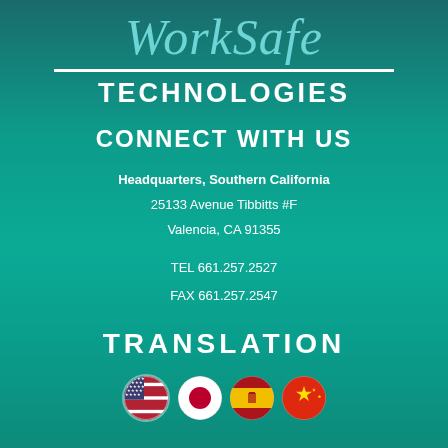WorkSafe
TECHNOLOGIES
CONNECT WITH US
Headquarters, Southern California
25133 Avenue Tibbitts #F
Valencia, CA 91355
TEL 661.257.2527
FAX 661.257.2547
TRANSLATION
[Figure (illustration): Four circular flag icons: USA, Japan, Spain, China]